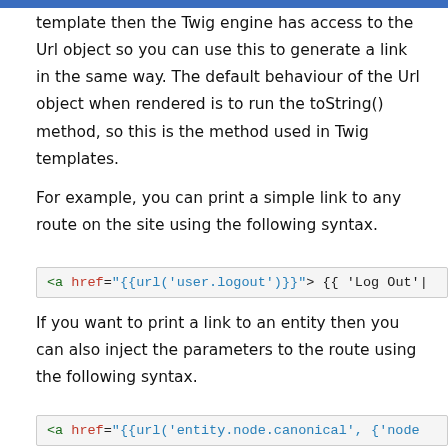template then the Twig engine has access to the Url object so you can use this to generate a link in the same way. The default behaviour of the Url object when rendered is to run the toString() method, so this is the method used in Twig templates.
For example, you can print a simple link to any route on the site using the following syntax.
<a href="{{url('user.logout')}}"> {{ 'Log Out'|
If you want to print a link to an entity then you can also inject the parameters to the route using the following syntax.
<a href="{{url('entity.node.canonical', {'node